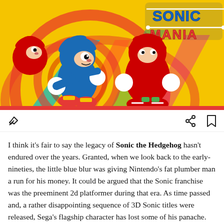[Figure (illustration): Sonic Mania game key art on a yellow background showing Sonic the Hedgehog in blue running pose, Knuckles the Echidna in red, and another character, with 'Sonic Mania' logo in the upper right corner in blue and red lettering with colorful circular patterns.]
I think it's fair to say the legacy of Sonic the Hedgehog hasn't endured over the years. Granted, when we look back to the early-nineties, the little blue blur was giving Nintendo's fat plumber man a run for his money. It could be argued that the Sonic franchise was the preeminent 2d platformer during that era. As time passed and, a rather disappointing sequence of 3D Sonic titles were released, Sega's flagship character has lost some of his panache.
It is odd then that after Sega's failed attempts to...